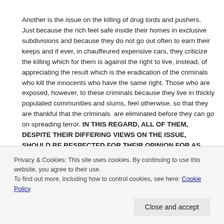Another is the issue on the killing of drug lords and pushers. Just because the rich feel safe inside their homes in exclusive subdivisions and because they do not go out often to earn their keeps and if ever, in chauffeured expensive cars, they criticize the killing which for them is against the right to live, instead, of appreciating the result which is the eradication of the criminals who kill the innocents who have the same right. Those who are exposed, however, to these criminals because they live in thickly populated communities and slums, feel otherwise, so that they are thankful that the criminals  are eliminated before they can go on spreading terror. IN THIS REGARD, ALL OF THEM, DESPITE THEIR DIFFERING VIEWS ON THE ISSUE, SHOULD BE RESPECTED FOR THEIR OPINION FOR AS
Privacy & Cookies: This site uses cookies. By continuing to use this website, you agree to their use.
To find out more, including how to control cookies, see here: Cookie Policy